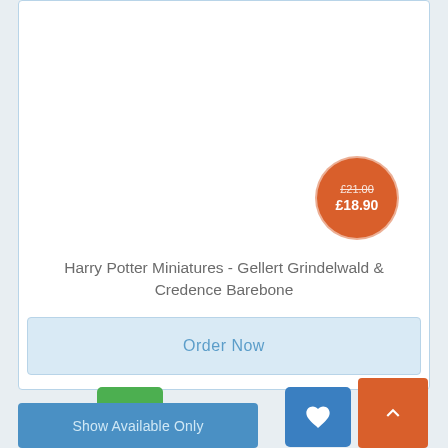[Figure (screenshot): Product card for Harry Potter Miniatures showing price badge with old price £21.00 and new price £18.90]
£21.00
£18.90
Harry Potter Miniatures - Gellert Grindelwald & Credence Barebone
Order Now
Show Available Only